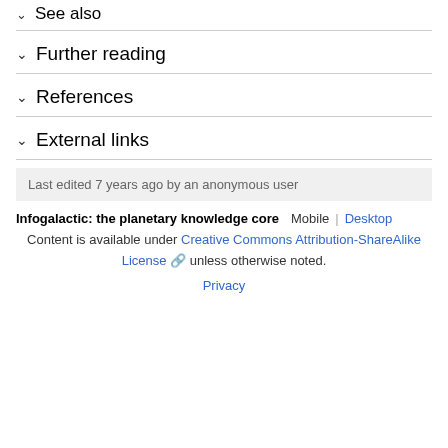See also
Further reading
References
External links
Last edited 7 years ago by an anonymous user
Infogalactic: the planetary knowledge core   Mobile  |  Desktop
Content is available under Creative Commons Attribution-ShareAlike License unless otherwise noted.
Privacy